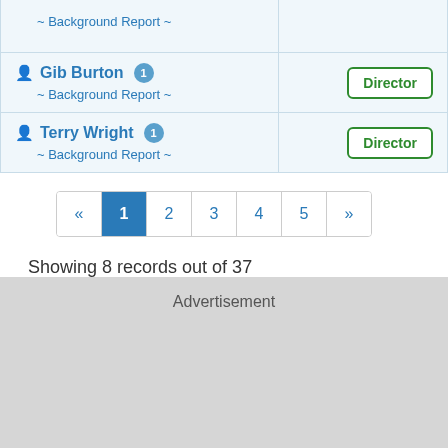| Person | Role |
| --- | --- |
| ~ Background Report ~ |  |
| Gib Burton 1
~ Background Report ~ | Director |
| Terry Wright 1
~ Background Report ~ | Director |
« 1 2 3 4 5 »
Showing 8 records out of 37
Advertisement